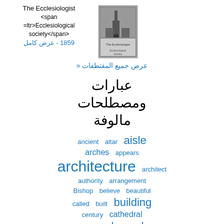The Ecclesiologist <span =ltr>Ecclesiological society</span> - عرض كامل - 1859
[Figure (photo): Book cover thumbnail of The Ecclesiologist]
عرض جميع المقتطفات »
عبارات ومصطلحات مالوفة
ancient  altar  aisle
arches  appears
architecture  architect
authority  arrangement
Bishop  believe  beautiful
called  built  building
century  cathedral
chapel  chancel